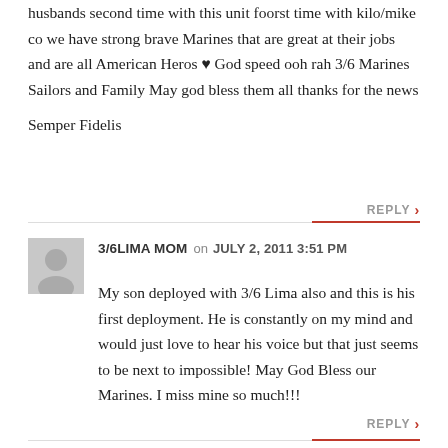husbands second time with this unit foorst time with kilo/mike co we have strong brave Marines that are great at their jobs and are all American Heros ♥ God speed ooh rah 3/6 Marines Sailors and Family May god bless them all thanks for the news
Semper Fidelis
3/6LIMA MOM on JULY 2, 2011 3:51 PM
My son deployed with 3/6 Lima also and this is his first deployment. He is constantly on my mind and would just love to hear his voice but that just seems to be next to impossible! May God Bless our Marines. I miss mine so much!!!